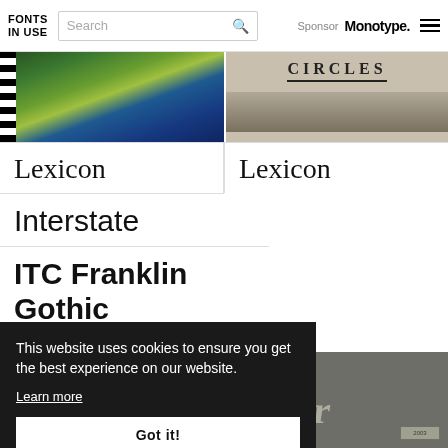FONTS IN USE | Search | Sponsor Monotype.
[Figure (photo): Left: satellite/aerial map image with green land and blue water, with black and white striped left edge. Right: grainy sepia-toned photographic image with the word CIRCLES in serif text at top.]
Lexicon
Lexicon
Interstate
ITC Franklin Gothic
[Figure (photo): Left: a framed rectangular object on a wooden surface. Right: metal raised 3D letters on a stone surface spelling out partial text (smusbbr visible), with a small plaque at bottom.]
This website uses cookies to ensure you get the best experience on our website. Learn more
Got it!